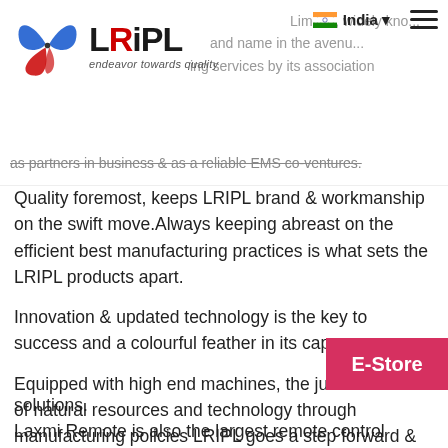[Figure (logo): LRIPL logo with butterfly/leaf graphic in blue and red, text 'LRiPL' and tagline 'endeavor towards quality']
Limited, widely kno... and name in the avenu... ing services by its association as partners in business & as a reliable EMS co-ventures.
Quality foremost, keeps LRIPL brand & workmanship on the swift move.Always keeping abreast on the efficient best manufacturing practices is what sets the LRIPL products apart.
Innovation & updated technology is the key to success and a colourful feather in its cap.
Equipped with high end machines, the judicious use of natural resources and technology through manufacturing policies LRIPL goes a step forward & makes it the most trusted EMS company providing end to end bus... solutions.
Laxmi Remote is also the largest remote control...